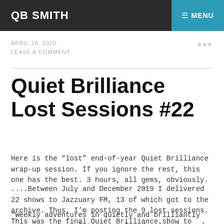QB SMITH
APRIL 18, 2020
LEAVE A COMMENT
Quiet Brilliance Lost Sessions #22
Here is the “lost” end-of-year Quiet Brilliance wrap-up session. If you ignore the rest, this one has the best. 3 hours, all gems, obviously.
....Between July and December 2019 I delivered 22 shows to Jazzuary FM, 13 of which got to the archive. Thus, I’m posting the 9 lost sessions. This was the final Quiet Brilliance show to “air”...
“Weekly adventures in quietly and brilliantly grooving ark-ival jazz, soul and related sounds and spirits, spanning the planet and recorded history — classics and future classics, due for treasure, materials variously...